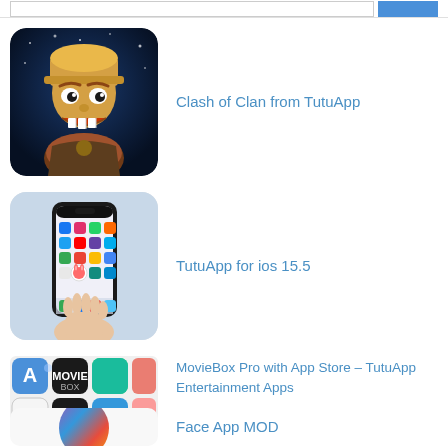[Figure (screenshot): Search bar with input field and blue search button at top of page]
[Figure (illustration): Clash of Clans game character app icon - warrior with yellow helmet]
Clash of Clan from TutuApp
[Figure (illustration): TutuApp for iOS 15.5 - hand holding iPhone showing TutuApp home screen]
TutuApp for ios 15.5
[Figure (illustration): MovieBox Pro with App Store – TutuApp Entertainment Apps - grid of app icons]
MovieBox Pro with App Store – TutuApp Entertainment Apps
[Figure (illustration): Face App MOD - colorful face silhouette logo]
Face App MOD